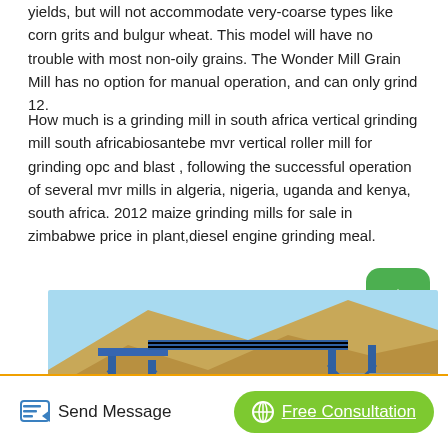yields, but will not accommodate very-coarse types like corn grits and bulgur wheat. This model will have no trouble with most non-oily grains. The Wonder Mill Grain Mill has no option for manual operation, and can only grind 12.
How much is a grinding mill in south africa vertical grinding mill south africabiosantebe mvr vertical roller mill for grinding opc and blast , following the successful operation of several mvr mills in algeria, nigeria, uganda and kenya, south africa. 2012 maize grinding mills for sale in zimbabwe price in plant,diesel engine grinding meal.
[Figure (photo): Industrial grinding mill facility with blue steel framework structure, conveyor belts, and a large grinding mill unit set against a hillside background.]
Send Message | Free Consultation